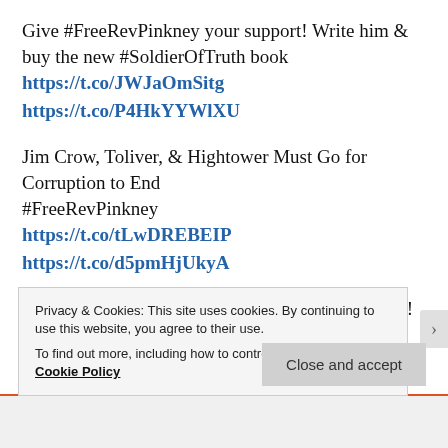Give #FreeRevPinkney your support! Write him & buy the new #SoldierOfTruth book
https://t.co/JWJaOmSitg
https://t.co/P4HkYYWlXU
Jim Crow, Toliver, & Hightower Must Go for Corruption to End
#FreeRevPinkney
https://t.co/tLwDREBEIP
https://t.co/d5pmHjUkyA
When Police Become Judge, Jury and Executioner!
Privacy & Cookies: This site uses cookies. By continuing to use this website, you agree to their use.
To find out more, including how to control cookies, see here: Cookie Policy
Close and accept